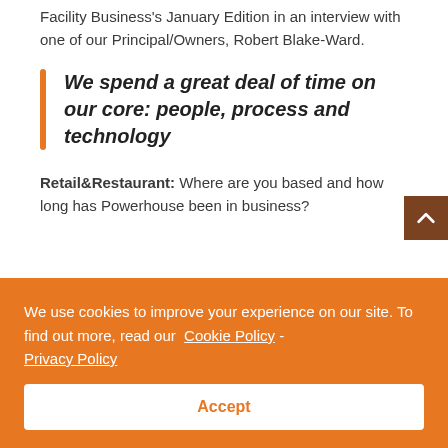Facility Business's January Edition in an interview with one of our Principal/Owners, Robert Blake-Ward.
We spend a great deal of time on our core: people, process and technology
Retail&Restaurant: Where are you based and how long has Powerhouse been in business?
We use cookies to improve your experience on our site. To find out more, read our Cookie Policy - Privacy Policy
Accept
R&R: What is your title